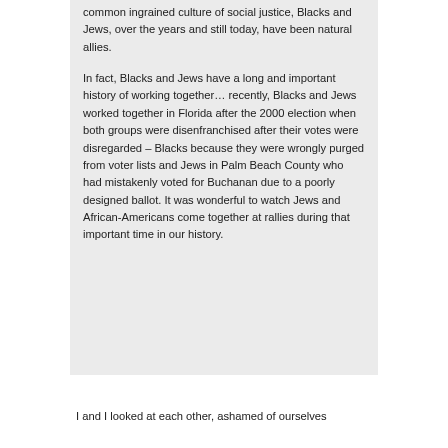common ingrained culture of social justice, Blacks and Jews, over the years and still today, have been natural allies.
In fact, Blacks and Jews have a long and important history of working together… recently, Blacks and Jews worked together in Florida after the 2000 election when both groups were disenfranchised after their votes were disregarded – Blacks because they were wrongly purged from voter lists and Jews in Palm Beach County who had mistakenly voted for Buchanan due to a poorly designed ballot. It was wonderful to watch Jews and African-Americans come together at rallies during that important time in our history.
I and I looked at each other, ashamed of ourselves